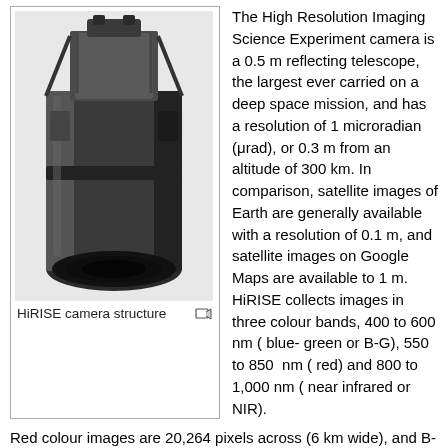[Figure (photo): HiRISE camera structure — a large cylindrical telescope barrel with supporting frame structure, photographed against a white background.]
HiRISE camera structure
The High Resolution Imaging Science Experiment camera is a 0.5 m reflecting telescope, the largest ever carried on a deep space mission, and has a resolution of 1 microradian (μrad), or 0.3 m from an altitude of 300 km. In comparison, satellite images of Earth are generally available with a resolution of 0.1 m, and satellite images on Google Maps are available to 1 m. HiRISE collects images in three colour bands, 400 to 600 nm ( blue- green or B-G), 550 to 850  nm ( red) and 800 to 1,000 nm ( near infrared or NIR).
Red colour images are 20,264 pixels across (6 km wide), and B-G and NIR are 4,048 pixels across (1.2 km wide). HiRISE's on-board computer reads these lines in time with the orbiter's ground speed, and images are potentially unlimited in length. Practically however, their length is limited by the computer's 28 Gigabit (Gb) memory capacity, and the nominal maximum size is 20,000 × 40,000 pixels (800 megapixels) and 4,000 × 40,000 pixels (160 megapixels) for B-G and NIR images. Each 16.4 Gb image will be compressed to 5 Gb before transmission and released to the general public on the HiRISE website in JPEG 2000 format. To facilitate the mapping of potential landing sites, HiRISE can produce stereo pairs of images from which topography can be calculated to an